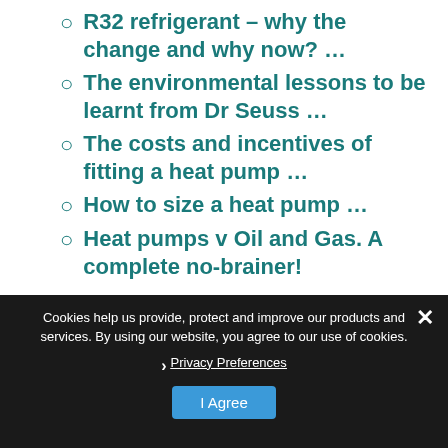R32 refrigerant – why the change and why now? …
The environmental lessons to be learnt from Dr Seuss …
The costs and incentives of fitting a heat pump …
How to size a heat pump …
Heat pumps v Oil and Gas. A complete no-brainer!
Cookies help us provide, protect and improve our products and services. By using our website, you agree to our use of cookies.
› Privacy Preferences
I Agree